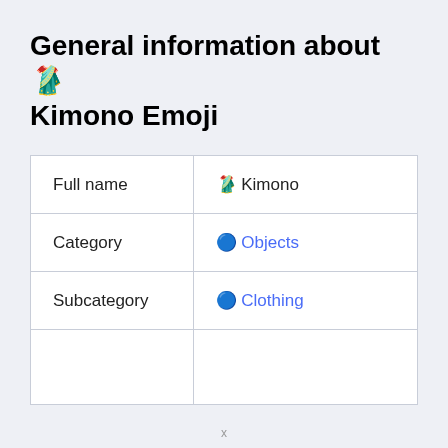General information about 🥻 Kimono Emoji
| Full name | 🥻 Kimono |
| Category | 🔵 Objects |
| Subcategory | 🔵 Clothing |
|  |  |